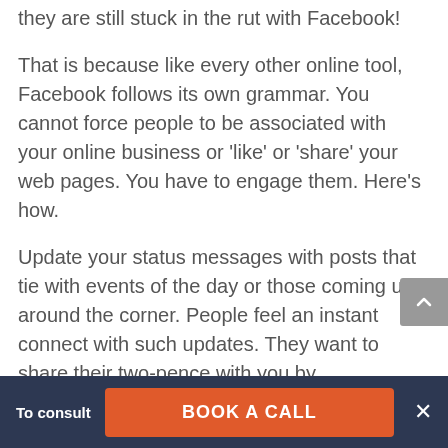they are still stuck in the rut with Facebook!
That is because like every other online tool, Facebook follows its own grammar. You cannot force people to be associated with your online business or ‘like’ or ‘share’ your web pages. You have to engage them. Here’s how.
Update your status messages with posts that tie with events of the day or those coming up around the corner. People feel an instant connect with such updates. They want to share their two-pence with you by commenting on your post. That sparks off a discussion with other members joining in as well. A continued
To consult
BOOK A CALL